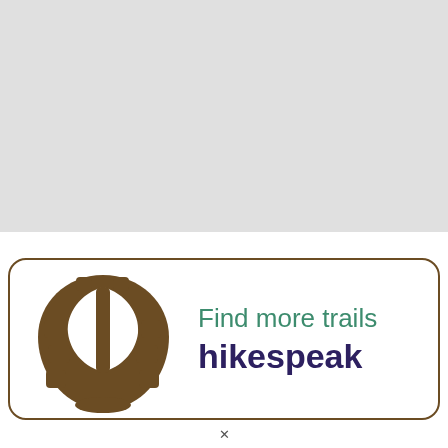[Figure (illustration): Gray rectangle filling the top portion of the page, representing a map or blank content area]
[Figure (logo): Hikespeak app promotional banner with a brown boot/rock icon on the left and text 'Find more trails' in green and 'hikespeak' in dark purple bold on the right, inside a rounded rectangle border]